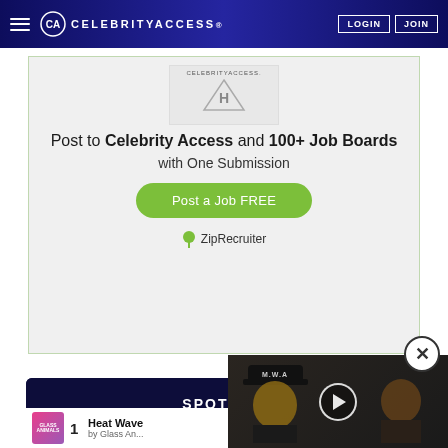CelebrityAccess - LOGIN JOIN
[Figure (infographic): Advertisement: Post to Celebrity Access and 100+ Job Boards with One Submission. Post a Job FREE button. Powered by ZipRecruiter.]
Post to Celebrity Access and 100+ Job Boards with One Submission
Post a Job FREE
ZipRecruiter
[Figure (screenshot): Bottom section showing Spotify chart card with dark background and crowd silhouette, and a video overlay showing two men, one wearing M.W.A hat, with a play button]
SPOTIFY C...
1  Heat Wave  by Glass An...